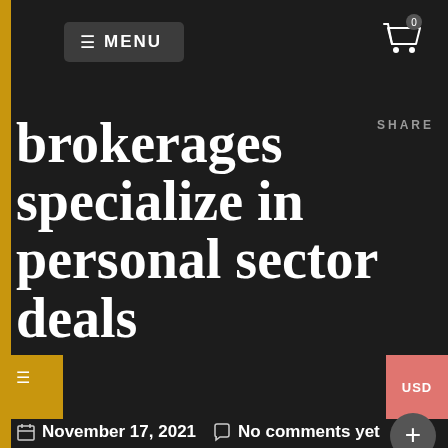MENU
brokerages specialize in personal sector deals
SHARE
November 17, 2021   No comments yet
Precisely what are business broker agents? These are intermediaries who support buyers and sellers of privately possessed businesses to complete the transaction. A small business broker can be either a person or a company, depending on the instances. They